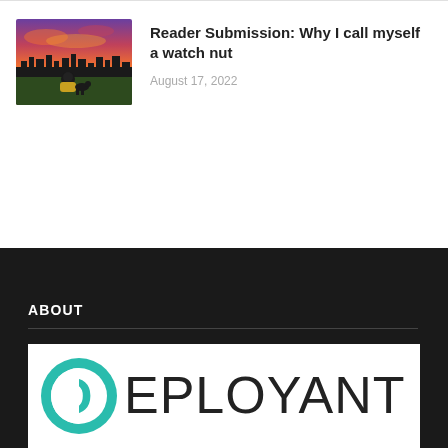[Figure (photo): Thumbnail photo of a person sitting on grass at sunset with city skyline in background with vivid orange and purple sky]
Reader Submission: Why I call myself a watch nut
August 17, 2022
ABOUT
[Figure (logo): Deployant logo: teal circle with letter D and text DEPLOYANT in thin serif/outline font]